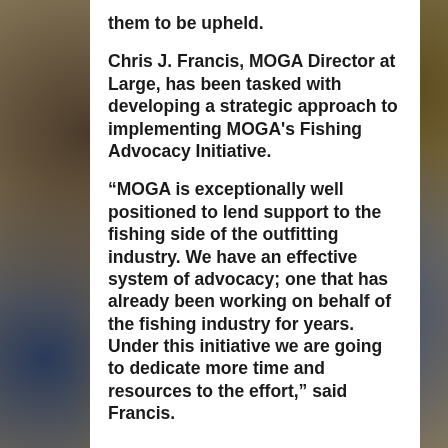them to be upheld.
Chris J. Francis, MOGA Director at Large, has been tasked with developing a strategic approach to implementing MOGA's Fishing Advocacy Initiative.
“MOGA is exceptionally well positioned to lend support to the fishing side of the outfitting industry. We have an effective system of advocacy; one that has already been working on behalf of the fishing industry for years. Under this initiative we are going to dedicate more time and resources to the effort,” said Francis.